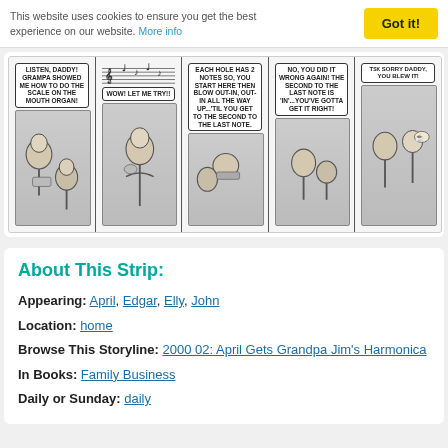This website uses cookies to ensure you get the best experience on our website. More info
[Figure (illustration): A black-and-white comic strip with 5 panels showing characters discussing how to play the mouth organ/harmonica. Panel 1: A girl tells her dad 'LISTEN, DADDY! GRAMPA SHOWED ME HOW TO DO THE SCALE ON THE MOUTH ORGAN!' Panel 2: Dad says 'WOW! LET ME TRY!!' Panel 3: Text explains 'EACH HOLE HAS 2 NOTES SO, YOU START HERE THEN BLOW OUT-IN, OUT-IN ALL THE WAY UP...'TIL YOU GET TO THE SECOND TO THE LAST NOTE.' Panel 4: 'NO, YOU DID IT WRONG AGAIN! THE SECOND TO THE LAST NOTE IS 'IN'...YOU'VE GOTTA GET IT RIGHT!' Panel 5: 'TSK SORRY DADDY, YOU BLEW IT!']
About This Strip:
Appearing: April, Edgar, Elly, John
Location: home
Browse This Storyline: 2000 02: April Gets Grandpa Jim's Harmonica
In Books: Family Business
Daily or Sunday: daily